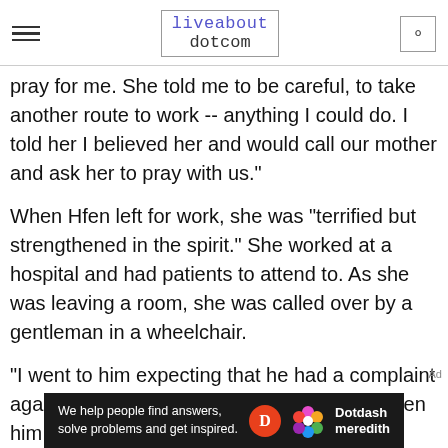liveabout dotcom
pray for me. She told me to be careful, to take another route to work -- anything I could do. I told her I believed her and would call our mother and ask her to pray with us."
When Hfen left for work, she was "terrified but strengthened in the spirit." She worked at a hospital and had patients to attend to. As she was leaving a room, she was called over by a gentleman in a wheelchair.
"I went to him expecting that he had a complaint against the hospital. He told me God had given him
[Figure (other): Dotdash Meredith ad banner: 'We help people find answers, solve problems and get inspired.' with Dotdash Meredith logo]